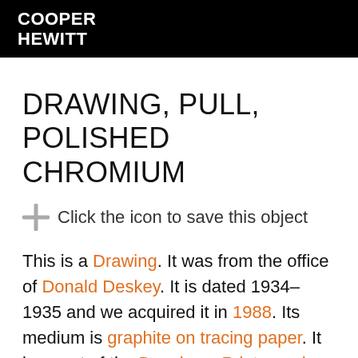COOPER HEWITT
DRAWING, PULL, POLISHED CHROMIUM
Click the icon to save this object
This is a Drawing. It was from the office of Donald Deskey. It is dated 1934–1935 and we acquired it in 1988. Its medium is graphite on tracing paper. It is a part of the Drawings, Prints, and Graphic Design